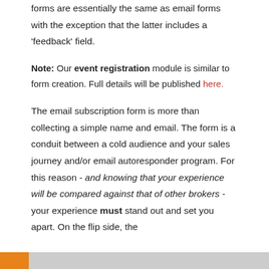forms are essentially the same as email forms with the exception that the latter includes a 'feedback' field.
Note: Our event registration module is similar to form creation. Full details will be published here.
The email subscription form is more than collecting a simple name and email. The form is a conduit between a cold audience and your sales journey and/or email autoresponder program. For this reason - and knowing that your experience will be compared against that of other brokers - your experience must stand out and set you apart. On the flip side, the